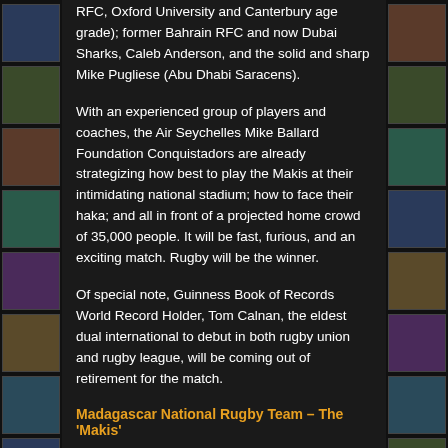RFC, Oxford University and Canterbury age grade); former Bahrain RFC and now Dubai Sharks, Caleb Anderson, and the solid and sharp Mike Pugliese (Abu Dhabi Saracens).
With an experienced group of players and coaches, the Air Seychelles Mike Ballard Foundation Conquistadors are already strategizing how best to play the Makis at their intimidating national stadium; how to face their haka; and all in front of a projected home crowd of 35,000 people. It will be fast, furious, and an exciting match. Rugby will be the winner.
Of special note, Guinness Book of Records World Record Holder, Tom Calnan, the eldest dual international to debut in both rugby union and rugby league, will be coming out of retirement for the match.
Madagascar National Rugby Team – The 'Makis'
Madagascar are currently preparing to play in the 2016